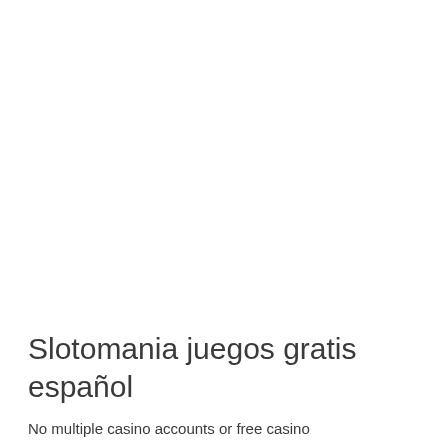Slotomania juegos gratis español
No multiple casino accounts or free casino